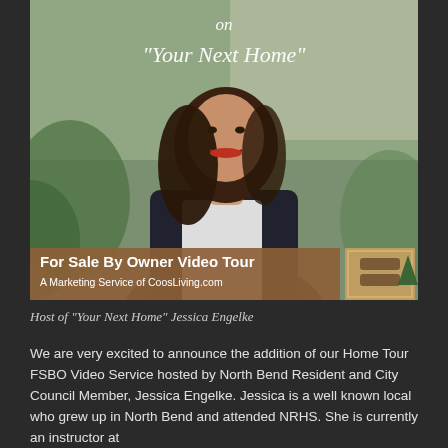[Figure (photo): A smiling woman with long dark hair, wearing a dark blazer over a white shirt, photographed outdoors with blurred greenery background. Overlaid text reads 'on "Your Next Home"'. Banner at bottom reads 'For Sale By Owner Video Tour / A Marketing Service of CoosLiving.com' with a logo box on the right.]
Host of "Your Next Home" Jessica Engelke
We are very excited to announce the addition of our Home Tour FSBO Video Service hosted by North Bend Resident and City Council Member, Jessica Engelke. Jessica is a well known local who grew up in North Bend and attended NRHS. She is currently an instructor at